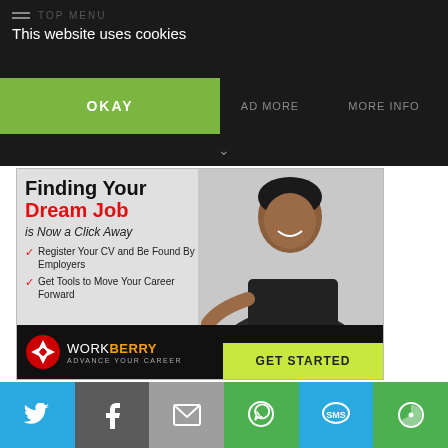TOP MENU
This website uses cookies
OKAY
READ MORE
MORE INFO
[Figure (infographic): Job recruitment advertisement for Workberry. Text: Finding Your Dream Job is Now a Click Away. Bullet points: Register Your CV and Be Found By Employers; Get Tools to Move Your Career Forward. Logo: WORKBERRY ADVANCE YOUR CAREER. Button: GET STARTED. Photo of smiling professional woman in suit extending hand.]
[Figure (infographic): Social sharing bar with icons: Twitter (blue), Facebook (dark grey), Email (grey), WhatsApp (green), SMS (blue), More (green)]